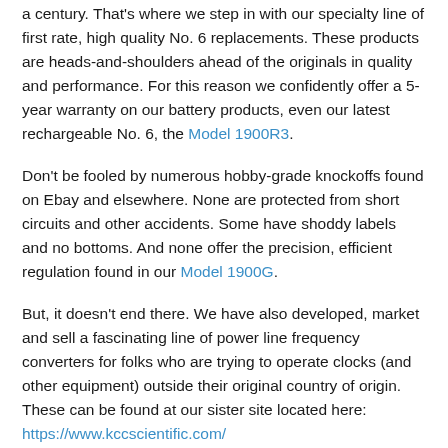a century. That's where we step in with our specialty line of first rate, high quality No. 6 replacements. These products are heads-and-shoulders ahead of the originals in quality and performance. For this reason we confidently offer a 5-year warranty on our battery products, even our latest rechargeable No. 6, the Model 1900R3.
Don't be fooled by numerous hobby-grade knockoffs found on Ebay and elsewhere. None are protected from short circuits and other accidents. Some have shoddy labels and no bottoms. And none offer the precision, efficient regulation found in our Model 1900G.
But, it doesn't end there. We have also developed, market and sell a fascinating line of power line frequency converters for folks who are trying to operate clocks (and other equipment) outside their original country of origin. These can be found at our sister site located here: https://www.kccscientific.com/
We welcome your feedback on offerings you would like to see.
About Self Winding Clocks and their History. From the late 1800's until well into the mid 1900's, self-winding clocks earned a most important role in horological history. They provided robust and reliable